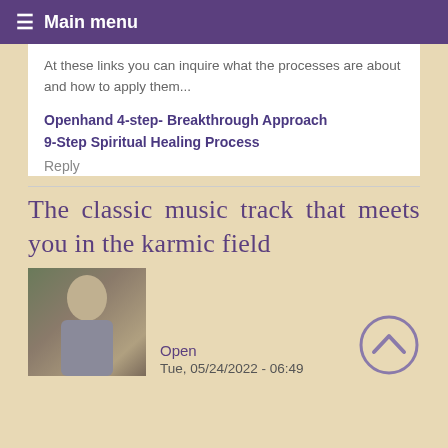≡ Main menu
At these links you can inquire what the processes are about and how to apply them...
Openhand 4-step- Breakthrough Approach
9-Step Spiritual Healing Process
Reply
The classic music track that meets you in the karmic field
Open
Tue, 05/24/2022 - 06:49